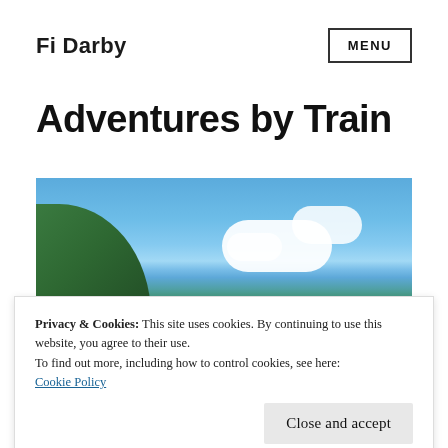Fi Darby
Adventures by Train
[Figure (photo): Outdoor landscape photo showing a green hillside on the left and a blue sky with white clouds occupying most of the frame.]
Privacy & Cookies: This site uses cookies. By continuing to use this website, you agree to their use.
To find out more, including how to control cookies, see here:
Cookie Policy
Close and accept